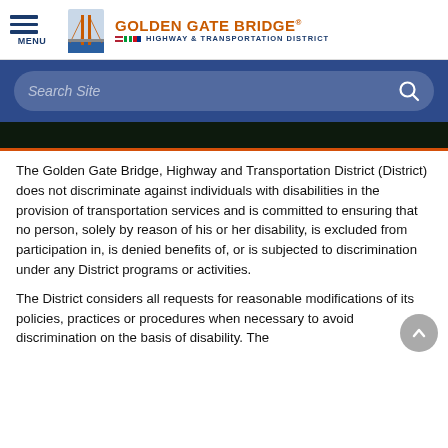MENU | GOLDEN GATE BRIDGE HIGHWAY & TRANSPORTATION DISTRICT
[Figure (screenshot): Search bar with placeholder text 'Search Site' and magnifying glass icon on dark blue background]
The Golden Gate Bridge, Highway and Transportation District (District) does not discriminate against individuals with disabilities in the provision of transportation services and is committed to ensuring that no person, solely by reason of his or her disability, is excluded from participation in, is denied benefits of, or is subjected to discrimination under any District programs or activities.
The District considers all requests for reasonable modifications of its policies, practices or procedures when necessary to avoid discrimination on the basis of disability. The